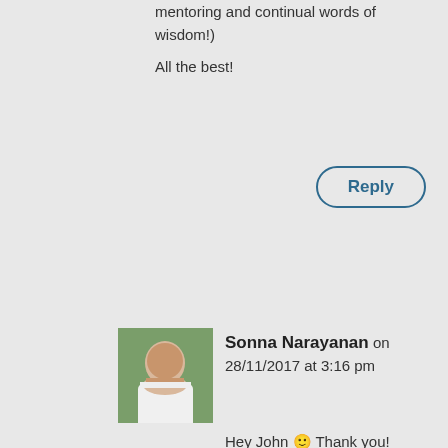mentoring and continual words of wisdom!)
All the best!
Reply
Sonna Narayanan on 28/11/2017 at 3:16 pm
[Figure (photo): Avatar photo of Sonna Narayanan, a person in a white top outdoors]
Hey John 🙂 Thank you!
The science scholars programme involves a 2 hour lecture every week. It's not really a lecture though, it's in a classroom and open to heaps of discussion. We have guest speakers every week from different faculties in the university and outside the